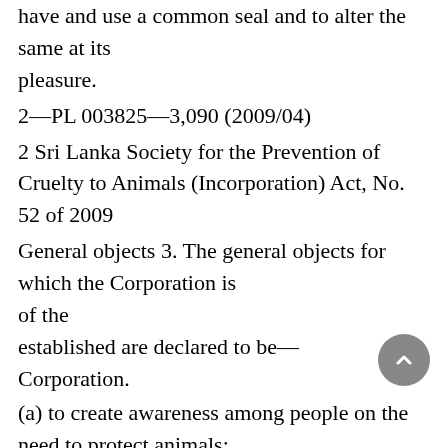have and use a common seal and to alter the same at its pleasure.
2—PL 003825—3,090 (2009/04)
2 Sri Lanka Society for the Prevention of Cruelty to Animals (Incorporation) Act, No. 52 of 2009
General objects 3. The general objects for which the Corporation is of the established are declared to be— Corporation.
(a) to create awareness among people on the need to protect animals;
(b) to educate people on the need to refrain from neglecting or inflicting unnecessary pain or suffering to animals;
(c) to take steps to preserve the fauna and create an awareness among the people of the importance of